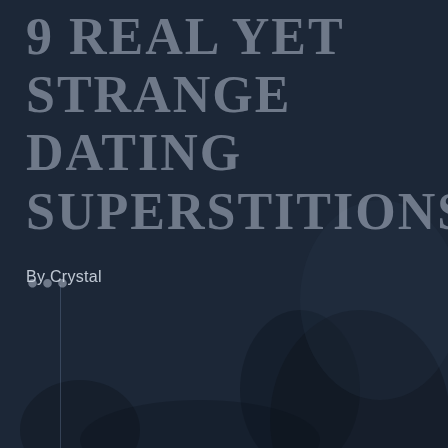9 REAL YET STRANGE DATING SUPERSTITIONS ...
By Crystal
[Figure (photo): Dark background image showing silhouetted figures of people on a dark navy/dark blue background, partially visible in the lower right portion of the image.]